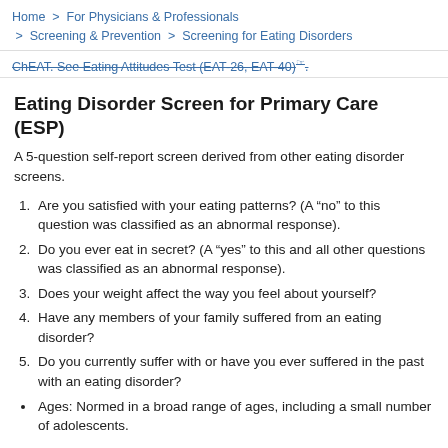Home  >  For Physicians & Professionals  >  Screening & Prevention  >  Screening for Eating Disorders
ChEAT. See Eating Attitudes Test (EAT-26, EAT-40).
Eating Disorder Screen for Primary Care (ESP)
A 5-question self-report screen derived from other eating disorder screens.
1. Are you satisfied with your eating patterns? (A “no” to this question was classified as an abnormal response).
2. Do you ever eat in secret? (A “yes” to this and all other questions was classified as an abnormal response).
3. Does your weight affect the way you feel about yourself?
4. Have any members of your family suffered from an eating disorder?
5. Do you currently suffer with or have you ever suffered in the past with an eating disorder?
Ages: Normed in a broad range of ages, including a small number of adolescents.